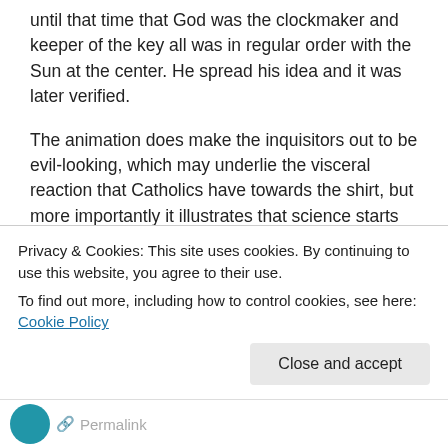until that time that God was the clockmaker and keeper of the key all was in regular order with the Sun at the center. He spread his idea and it was later verified.
The animation does make the inquisitors out to be evil-looking, which may underlie the visceral reaction that Catholics have towards the shirt, but more importantly it illustrates that science starts with imagination to propose answers and from there testable hypotheses are formed. If Cosmos is going to use a “ship of the mind,” it ties in nicely to th...
Privacy & Cookies: This site uses cookies. By continuing to use this website, you agree to their use.
To find out more, including how to control cookies, see here: Cookie Policy
Permalink